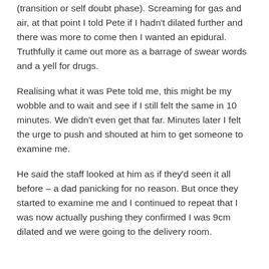(transition or self doubt phase). Screaming for gas and air, at that point I told Pete if I hadn't dilated further and there was more to come then I wanted an epidural. Truthfully it came out more as a barrage of swear words and a yell for drugs.
Realising what it was Pete told me, this might be my wobble and to wait and see if I still felt the same in 10 minutes. We didn't even get that far. Minutes later I felt the urge to push and shouted at him to get someone to examine me.
He said the staff looked at him as if they'd seen it all before – a dad panicking for no reason. But once they started to examine me and I continued to repeat that I was now actually pushing they confirmed I was 9cm dilated and we were going to the delivery room.